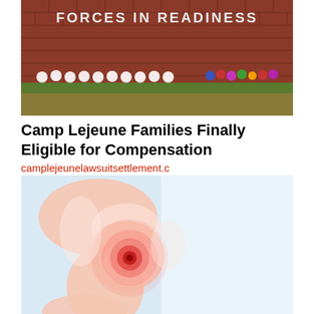[Figure (photo): A brick wall with text 'FORCES IN READINESS' with white flower wreaths and colorful flowers arranged along its base, on a grassy area with red/brown earth tones.]
Camp Lejeune Families Finally Eligible for Compensation
camplejeunelawsuitsettlement.c
[Figure (illustration): Medical illustration of a human arm/elbow joint with a glowing red spot indicating pain or inflammation, against a light blue background. Skin tones in pale pink/salmon.]